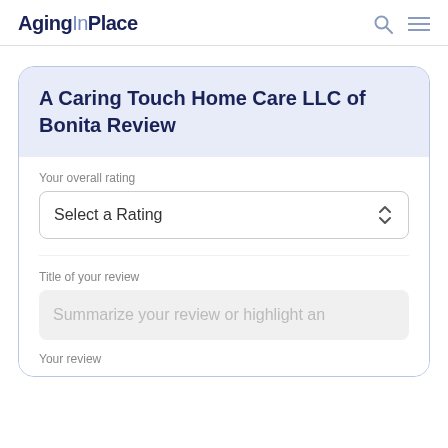AgingInPlace
A Caring Touch Home Care LLC of Bonita Review
Your overall rating
Select a Rating
Title of your review
Summarize your review or highlight an
Your review